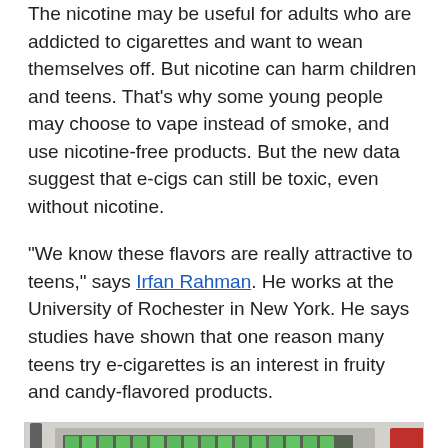The nicotine may be useful for adults who are addicted to cigarettes and want to wean themselves off. But nicotine can harm children and teens. That's why some young people may choose to vape instead of smoke, and use nicotine-free products. But the new data suggest that e-cigs can still be toxic, even without nicotine.
"We know these flavors are really attractive to teens," says Irfan Rahman. He works at the University of Rochester in New York. He says studies have shown that one reason many teens try e-cigarettes is an interest in fruity and candy-flavored products.
[Figure (photo): A laboratory bench with e-cigarette testing equipment. A large machine with green-lit strips is visible at the top. Various bottles — including pink, blue, and clear liquid containers — are arranged on the dark counter surface. A rack of small vials is visible on the right side.]